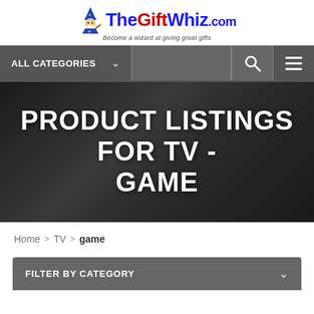[Figure (logo): TheGiftWhiz.com logo with wizard mascot icon and tagline 'Become a wizard at giving great gifts']
PRODUCT LISTINGS FOR TV - GAME
Home > TV > game
FILTER BY CATEGORY